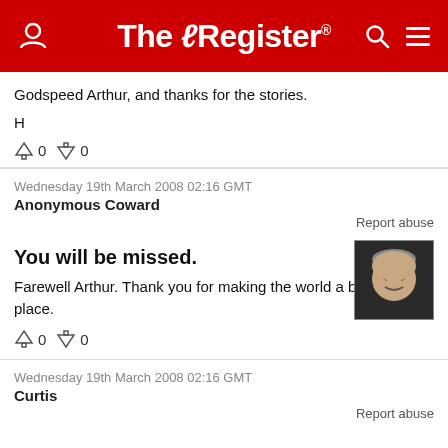The Register
Godspeed Arthur, and thanks for the stories.

H
↑0  ↓0
Wednesday 19th March 2008 02:16 GMT
Anonymous Coward
Report abuse
You will be missed.
Farewell Arthur. Thank you for making the world a better place.
↑0  ↓0
Wednesday 19th March 2008 02:16 GMT
Curtis
Report abuse